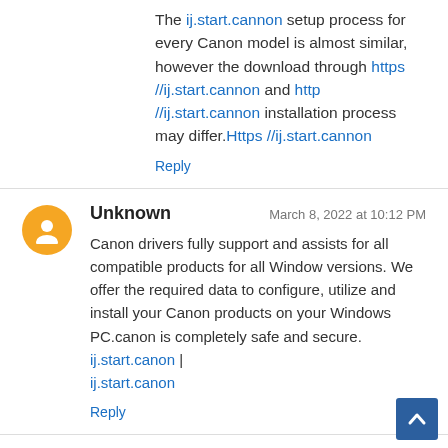The ij.start.cannon setup process for every Canon model is almost similar, however the download through https //ij.start.cannon and http //ij.start.cannon installation process may differ.Https //ij.start.cannon
Reply
Unknown — March 8, 2022 at 10:12 PM
Canon drivers fully support and assists for all compatible products for all Window versions. We offer the required data to configure, utilize and install your Canon products on your Windows PC.canon is completely safe and secure. ij.start.canon | ij.start.canon
Reply
sportstototopcom — March 10, 2022 at 6
Excellent post, i need to thanks for this informative